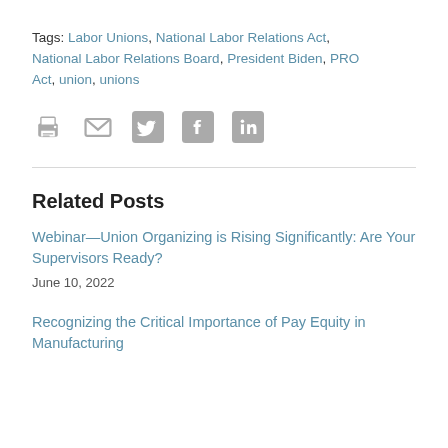Tags: Labor Unions, National Labor Relations Act, National Labor Relations Board, President Biden, PRO Act, union, unions
[Figure (infographic): Row of social sharing icons: print, email, Twitter, Facebook, LinkedIn — all in gray]
Related Posts
Webinar—Union Organizing is Rising Significantly: Are Your Supervisors Ready?
June 10, 2022
Recognizing the Critical Importance of Pay Equity in Manufacturing